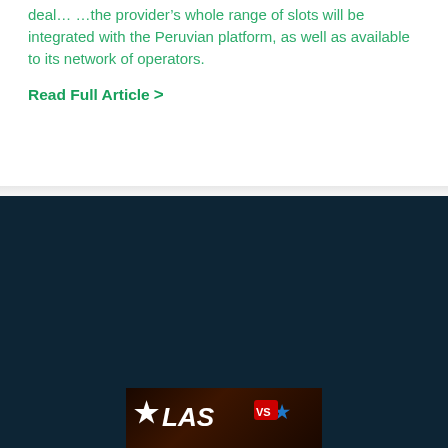deal... …the provider's whole range of slots will be integrated with the Peruvian platform, as well as available to its network of operators.
Read Full Article >
[Figure (illustration): Social media icons row: Facebook (blue circle with 'f'), Twitter (light blue circle with bird), Instagram (purple-orange gradient circle with camera), YouTube (red circle with play button)]
[Figure (logo): Las Vegas themed logo with stars on dark background]